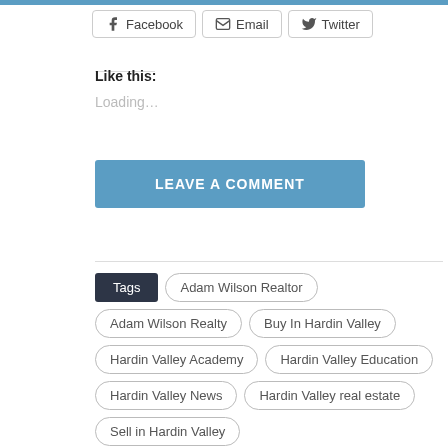Facebook | Email | Twitter
Like this:
Loading…
LEAVE A COMMENT
Tags | Adam Wilson Realtor | Adam Wilson Realty | Buy In Hardin Valley | Hardin Valley Academy | Hardin Valley Education | Hardin Valley News | Hardin Valley real estate | Sell in Hardin Valley